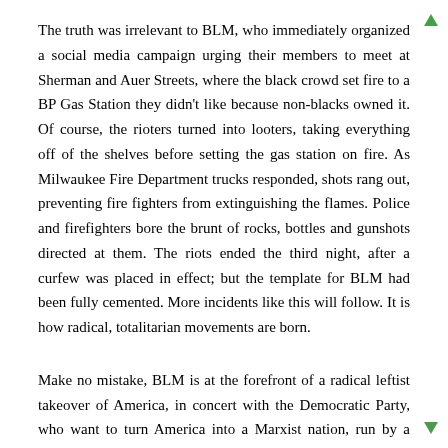The truth was irrelevant to BLM, who immediately organized a social media campaign urging their members to meet at Sherman and Auer Streets, where the black crowd set fire to a BP Gas Station they didn't like because non-blacks owned it. Of course, the rioters turned into looters, taking everything off of the shelves before setting the gas station on fire. As Milwaukee Fire Department trucks responded, shots rang out, preventing fire fighters from extinguishing the flames. Police and firefighters bore the brunt of rocks, bottles and gunshots directed at them. The riots ended the third night, after a curfew was placed in effect; but the template for BLM had been fully cemented. More incidents like this will follow. It is how radical, totalitarian movements are born.
Make no mistake, BLM is at the forefront of a radical leftist takeover of America, in concert with the Democratic Party, who want to turn America into a Marxist nation, run by a political class of tyrants. You don't believe it, just try to refuse making a cake for a gay wedding and see what happens. In Washington State, one business owner was fined out of business, by the state, for doing just